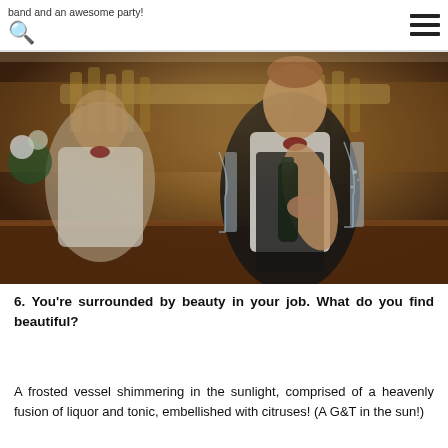band and an awesome party!
[Figure (photo): Bartender in bow tie and apron pouring champagne into a flute at a bar, with another bartender and flowers in the background. Warm amber lighting, bar setting.]
6. You're surrounded by beauty in your job. What do you find beautiful?
A frosted vessel shimmering in the sunlight, comprised of a heavenly fusion of liquor and tonic, embellished with citruses! (A G&T in the sun!)